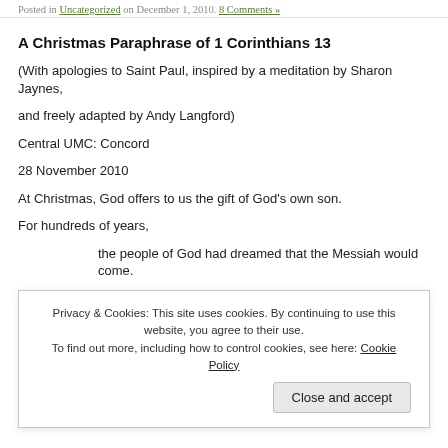Posted in Uncategorized on December 1, 2010. 8 Comments »
A Christmas Paraphrase of 1 Corinthians 13
(With apologies to Saint Paul, inspired by a meditation by Sharon Jaynes, and freely adapted by Andy Langford)
Central UMC: Concord
28 November 2010
At Christmas, God offers to us the gift of God's own son.
For hundreds of years,
the people of God had dreamed that the Messiah would come.
And then, in a world dominated by sin and death,
Emmanuel, a child conceived by the Holy Spirit,
Privacy & Cookies: This site uses cookies. By continuing to use this website, you agree to their use.
To find out more, including how to control cookies, see here: Cookie Policy
Close and accept